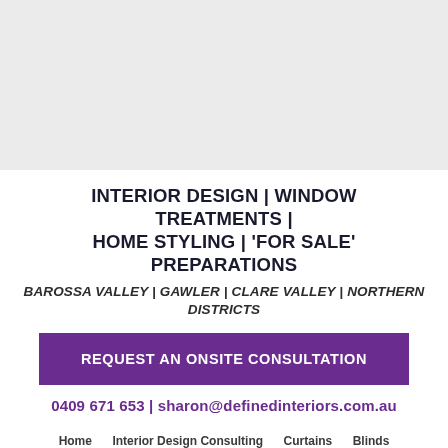[Figure (photo): Light grey hero image area at top of webpage]
INTERIOR DESIGN | WINDOW TREATMENTS | HOME STYLING | 'FOR SALE' PREPARATIONS
BAROSSA VALLEY | GAWLER | CLARE VALLEY | NORTHERN DISTRICTS
REQUEST AN ONSITE CONSULTATION
0409 671 653 | sharon@definedinteriors.com.au
Home
Interior Design Consulting
Curtains
Blinds
Home Staging
Interior Design Advice
About Us
COVID 19
Contact